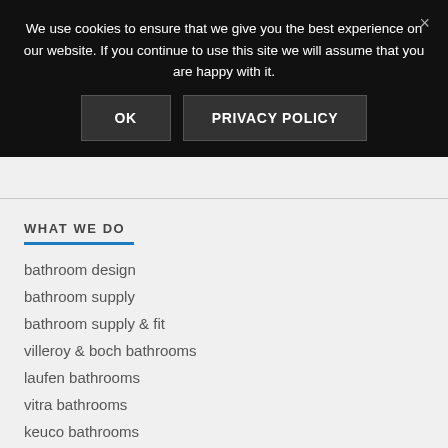We use cookies to ensure that we give you the best experience on our website. If you continue to use this site we will assume that you are happy with it.
OK
PRIVACY POLICY
WHAT WE DO
bathroom design
bathroom supply
bathroom supply & fit
villeroy & boch bathrooms
laufen bathrooms
vitra bathrooms
keuco bathrooms